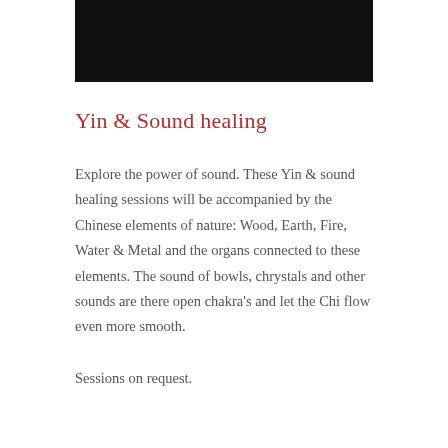[Figure (photo): Black rectangular bar at top of page, likely a header image or banner]
Yin & Sound healing
Explore the power of sound. These Yin & sound healing sessions will be accompanied by the Chinese elements of nature: Wood, Earth, Fire, Water & Metal and the organs connected to these elements. The sound of bowls, chrystals and other sounds are there open chakra's and let the Chi flow even more smooth.
Sessions on request.